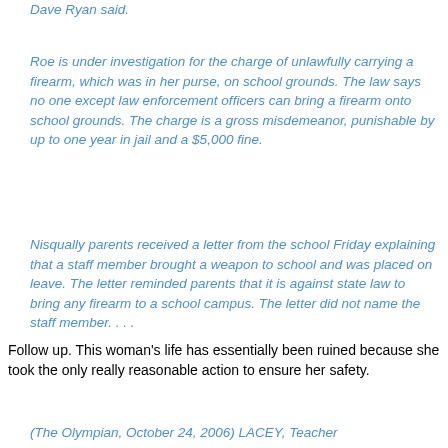Dave Ryan said.
Roe is under investigation for the charge of unlawfully carrying a firearm, which was in her purse, on school grounds. The law says no one except law enforcement officers can bring a firearm onto school grounds. The charge is a gross misdemeanor, punishable by up to one year in jail and a $5,000 fine.
Nisqually parents received a letter from the school Friday explaining that a staff member brought a weapon to school and was placed on leave. The letter reminded parents that it is against state law to bring any firearm to a school campus. The letter did not name the staff member. . . .
Follow up. This woman's life has essentially been ruined because she took the only really reasonable action to ensure her safety.
(The Olympian, October 24, 2006) LACEY, Teacher